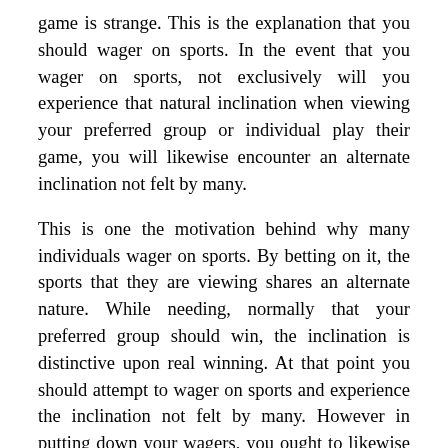game is strange. This is the explanation that you should wager on sports. In the event that you wager on sports, not exclusively will you experience that natural inclination when viewing your preferred group or individual play their game, you will likewise encounter an alternate inclination not felt by many.
This is one the motivation behind why many individuals wager on sports. By betting on it, the sports that they are viewing shares an alternate nature. While needing, normally that your preferred group should win, the inclination is distinctive upon real winning. At that point you should attempt to wager on sports and experience the inclination not felt by many. However in putting down your wagers, you ought to likewise be cautious since behind the typical betting is insightful betting. This is when card sharks, think about a great deal of things before putting down their wagers. On the off chance that you need to wager on sports, you ought to